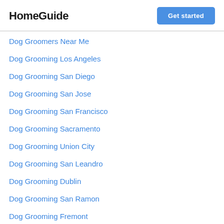HomeGuide
Dog Groomers Near Me
Dog Grooming Los Angeles
Dog Grooming San Diego
Dog Grooming San Jose
Dog Grooming San Francisco
Dog Grooming Sacramento
Dog Grooming Union City
Dog Grooming San Leandro
Dog Grooming Dublin
Dog Grooming San Ramon
Dog Grooming Fremont